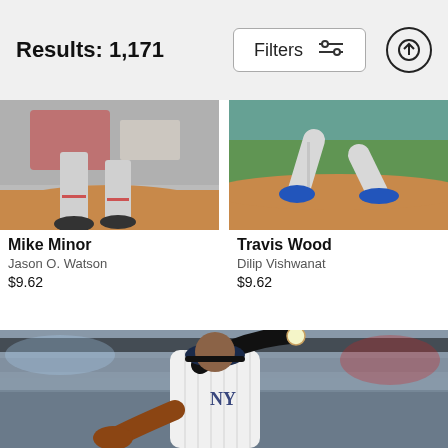Results: 1,171
[Figure (screenshot): Filters button with sliders icon]
[Figure (photo): Baseball pitcher lower body on mound - Mike Minor]
Mike Minor
Jason O. Watson
$9.62
[Figure (photo): Baseball pitcher lower body on mound - Travis Wood]
Travis Wood
Dilip Vishwanat
$9.62
[Figure (photo): New York Yankees pitcher in pinstripes winding up to throw, in stadium]